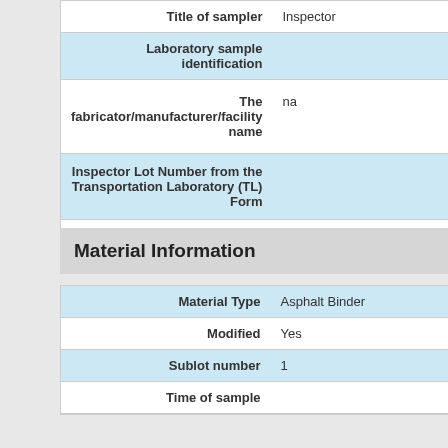| Field | Value |
| --- | --- |
| Title of sampler | Inspector |
| Laboratory sample identification |  |
| The fabricator/manufacturer/facility name | na |
| Inspector Lot Number from the Transportation Laboratory (TL) Form |  |
| Structure name |  |
Material Information
| Field | Value |
| --- | --- |
| Material Type | Asphalt Binder |
| Modified | Yes |
| Sublot number | 1 |
| Time of sample |  |